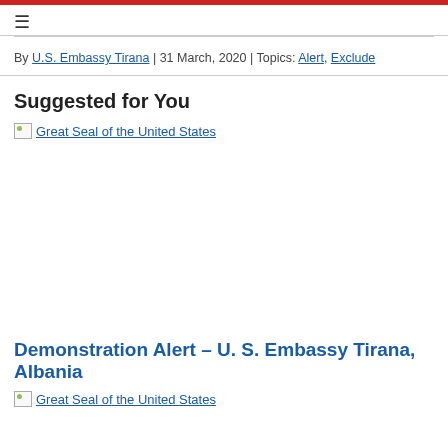By U.S. Embassy Tirana | 31 March, 2020 | Topics: Alert, Exclude
Suggested for You
[Figure (illustration): Broken image placeholder with alt text: Great Seal of the United States]
Demonstration Alert – U. S. Embassy Tirana, Albania
[Figure (illustration): Broken image placeholder with alt text: Great Seal of the United States (bottom, partially visible)]